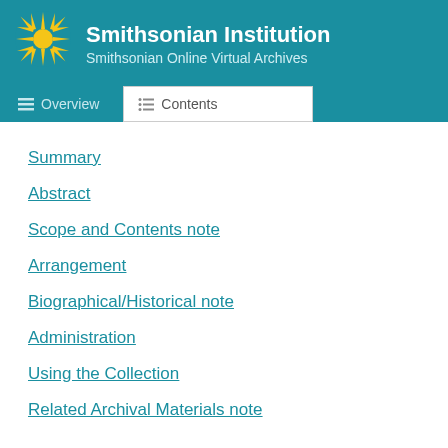Smithsonian Institution — Smithsonian Online Virtual Archives
Summary
Abstract
Scope and Contents note
Arrangement
Biographical/Historical note
Administration
Using the Collection
Related Archival Materials note